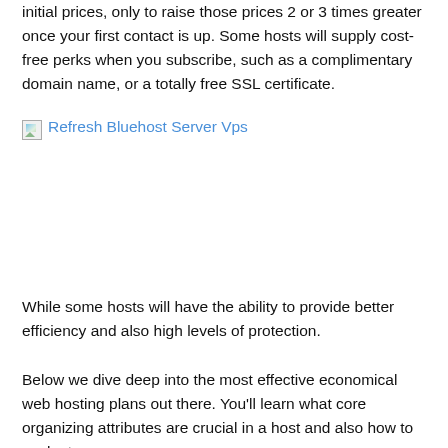initial prices, only to raise those prices 2 or 3 times greater once your first contact is up. Some hosts will supply cost-free perks when you subscribe, such as a complimentary domain name, or a totally free SSL certificate.
[Figure (photo): Broken image placeholder with alt text 'Refresh Bluehost Server Vps' shown as a hyperlink in blue]
While some hosts will have the ability to provide better efficiency and also high levels of protection.
Below we dive deep into the most effective economical web hosting plans out there. You'll learn what core organizing attributes are crucial in a host and also how to evaluate your very own